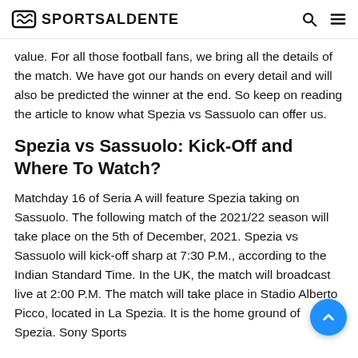SPORTSALDENTE
value. For all those football fans, we bring all the details of the match. We have got our hands on every detail and will also be predicted the winner at the end. So keep on reading the article to know what Spezia vs Sassuolo can offer us.
Spezia vs Sassuolo: Kick-Off and Where To Watch?
Matchday 16 of Seria A will feature Spezia taking on Sassuolo. The following match of the 2021/22 season will take place on the 5th of December, 2021. Spezia vs Sassuolo will kick-off sharp at 7:30 P.M., according to the Indian Standard Time. In the UK, the match will broadcast live at 2:00 P.M. The match will take place in Stadio Alberto Picco, located in La Spezia. It is the home ground of Spezia. Sony Sports